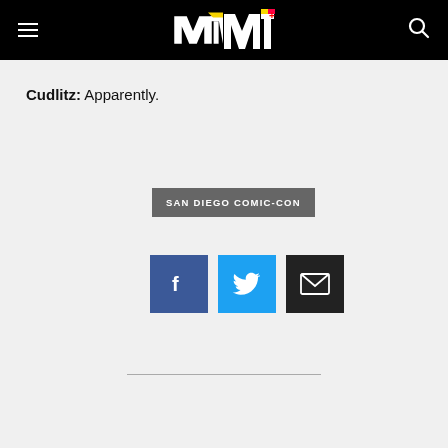MTV logo, hamburger menu, search icon
Cudlitz: Apparently.
SAN DIEGO COMIC-CON
[Figure (infographic): Social sharing icons: Facebook (blue), Twitter (light blue), Email (dark/black)]